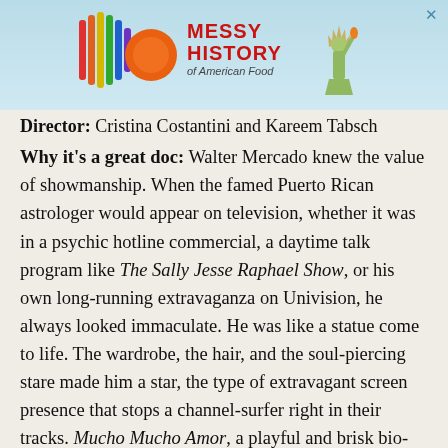[Figure (illustration): Advertisement banner for 'Messy History of American Food' featuring a colorful logo with rainbow stripes and an orange circle, red bold text reading MESSY HISTORY of American Food, and a Statue of Liberty graphic on the right, on a light blue background.]
Director: Cristina Costantini and Kareem Tabsch
Why it's a great doc: Walter Mercado knew the value of showmanship. When the famed Puerto Rican astrologer would appear on television, whether it was in a psychic hotline commercial, a daytime talk program like The Sally Jesse Raphael Show, or his own long-running extravaganza on Univision, he always looked immaculate. He was like a statue come to life. The wardrobe, the hair, and the soul-piercing stare made him a star, the type of extravagant screen presence that stops a channel-surfer right in their tracks. Mucho Mucho Amor, a playful and brisk bio-documentary, celebrates his star-making qualities while also arguing that it was his universal message of peace